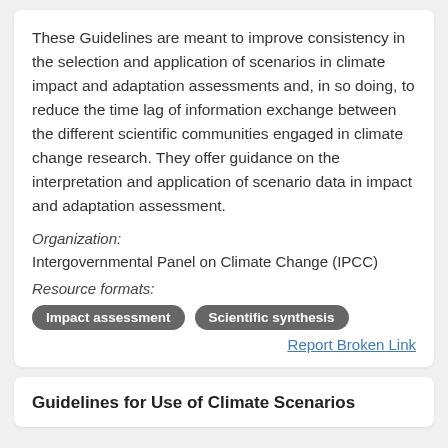These Guidelines are meant to improve consistency in the selection and application of scenarios in climate impact and adaptation assessments and, in so doing, to reduce the time lag of information exchange between the different scientific communities engaged in climate change research. They offer guidance on the interpretation and application of scenario data in impact and adaptation assessment.
Organization:
Intergovernmental Panel on Climate Change (IPCC)
Resource formats:
Impact assessment   Scientific synthesis
Report Broken Link
Guidelines for Use of Climate Scenarios